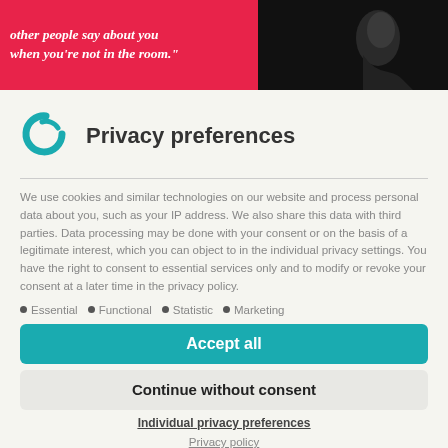[Figure (photo): Banner image with pink background on left showing italic bold quote text 'other people say about you when you're not in the room.' and dark photo of person's face silhouette on right]
Privacy preferences
We use cookies and similar technologies on our website and process personal data about you, such as your IP address. We also share this data with third parties. Data processing may be done with your consent or on the basis of a legitimate interest, which you can object to in the individual privacy settings. You have the right to consent to essential services only and to modify or revoke your consent at a later time in the privacy policy.
Essential
Functional
Statistic
Marketing
Accept all
Continue without consent
Individual privacy preferences
Privacy policy